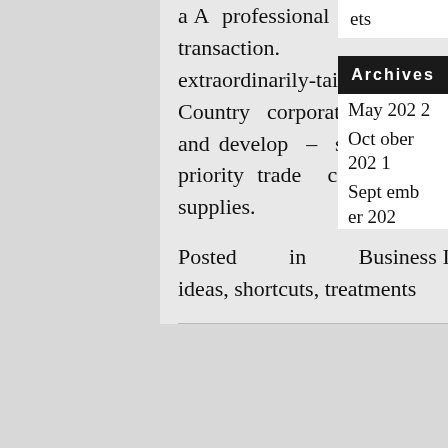a A professional advisory company to shut your transaction. CITEC's consultants provide extraordinarily-tailored solutions to assist North Country corporations plan, carry out, revenue and develop – supporting the North Country's priority trade cluster: transportation tools and supplies.
Posted in Business IdeaTagged business, ideas, shortcuts, treatments
ets
Archives
May 2022
October 2021
September 202